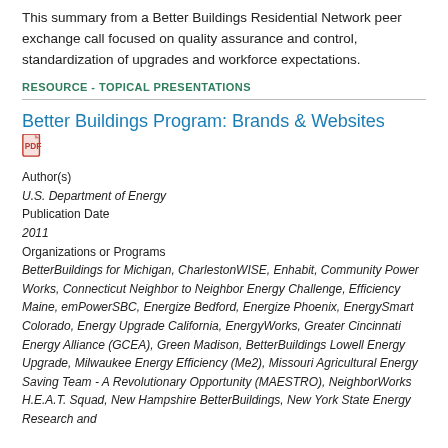This summary from a Better Buildings Residential Network peer exchange call focused on quality assurance and control, standardization of upgrades and workforce expectations.
RESOURCE - TOPICAL PRESENTATIONS
Better Buildings Program: Brands & Websites
Author(s)
U.S. Department of Energy
Publication Date
2011
Organizations or Programs
BetterBuildings for Michigan, CharlestonWISE, Enhabit, Community Power Works, Connecticut Neighbor to Neighbor Energy Challenge, Efficiency Maine, emPowerSBC, Energize Bedford, Energize Phoenix, EnergySmart Colorado, Energy Upgrade California, EnergyWorks, Greater Cincinnati Energy Alliance (GCEA), Green Madison, BetterBuildings Lowell Energy Upgrade, Milwaukee Energy Efficiency (Me2), Missouri Agricultural Energy Saving Team - A Revolutionary Opportunity (MAESTRO), NeighborWorks H.E.A.T. Squad, New Hampshire BetterBuildings, New York State Energy Research and